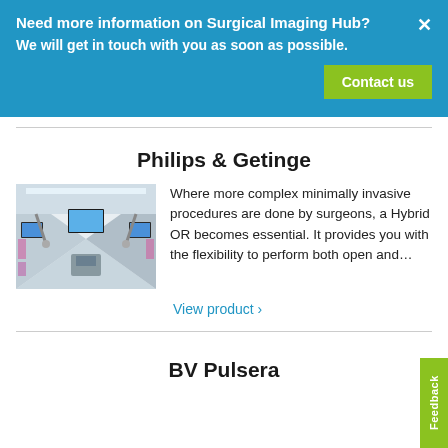Need more information on Surgical Imaging Hub?
We will get in touch with you as soon as possible.
Contact us
Philips & Getinge
[Figure (photo): Interior of a hybrid operating room showing surgical equipment, monitors, overhead lighting, and robotic arms]
Where more complex minimally invasive procedures are done by surgeons, a Hybrid OR becomes essential. It provides you with the flexibility to perform both open and…
View product ›
BV Pulsera
Feedback